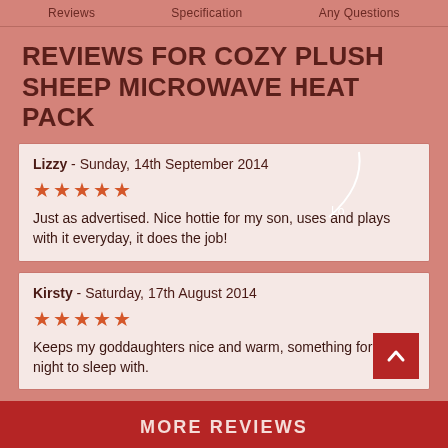Reviews   Specification   Any Questions
REVIEWS FOR COZY PLUSH SHEEP MICROWAVE HEAT PACK
Lizzy - Sunday, 14th September 2014
★★★★★
Just as advertised. Nice hottie for my son, uses and plays with it everyday, it does the job!
Kirsty - Saturday, 17th August 2014
★★★★★
Keeps my goddaughters nice and warm, something for her at night to sleep with.
MORE REVIEWS